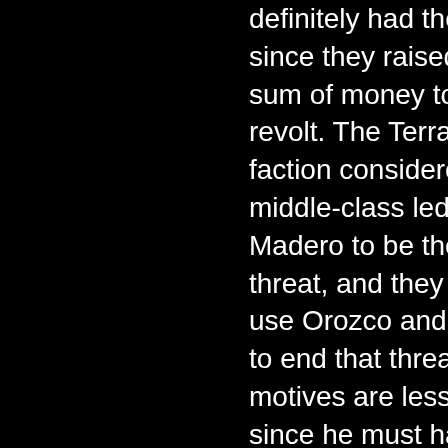definitely had their support, since they raised a huge sum of money to fund his revolt. The Terrazas-Creel faction considered the middle-class led by Madero to be the greater threat, and they hoped to use Orozco and his troops to end that threat. Orozco's motives are less clear, since he must have realized that the Terrazas would turn on him eventually. However, he had never been a true revolutionary, but